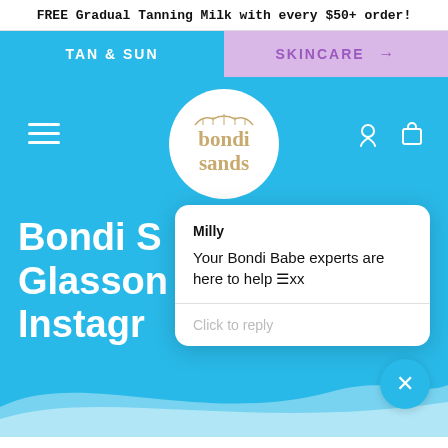FREE Gradual Tanning Milk with every $50+ order!
TAN & SUN
SKINCARE →
[Figure (logo): Bondi Sands circular logo with bridge icon]
Bondi S
Glasson
Instagr
[Figure (screenshot): Chat popup from Milly: Your Bondi Babe experts are here to help xx. With Click to reply input.]